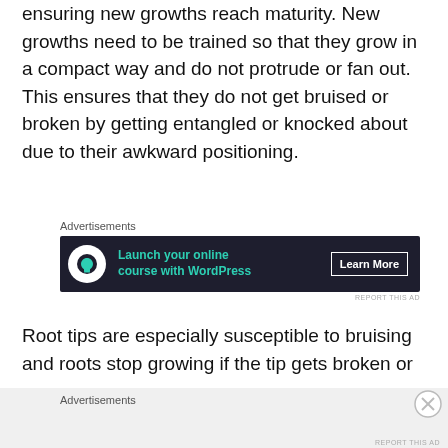ensuring new growths reach maturity. New growths need to be trained so that they grow in a compact way and do not protrude or fan out. This ensures that they do not get bruised or broken by getting entangled or knocked about due to their awkward positioning.
Advertisements
[Figure (other): Advertisement banner with dark background: 'Launch your online course with WordPress' with Learn More button]
Root tips are especially susceptible to bruising and roots stop growing if the tip gets broken or
Advertisements